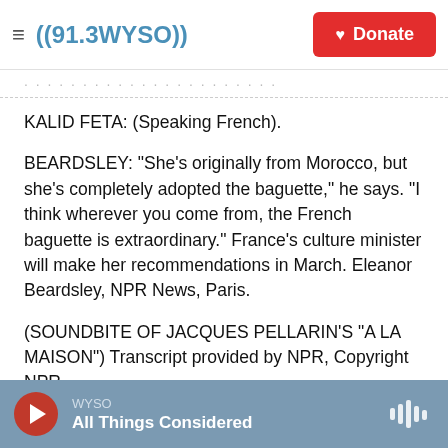((91.3WYSO)) | Donate
KALID FETA: (Speaking French).
BEARDSLEY: "She's originally from Morocco, but she's completely adopted the baguette," he says. "I think wherever you come from, the French baguette is extraordinary." France's culture minister will make her recommendations in March. Eleanor Beardsley, NPR News, Paris.
(SOUNDBITE OF JACQUES PELLARIN'S "A LA MAISON") Transcript provided by NPR, Copyright NPR.
WYSO | All Things Considered